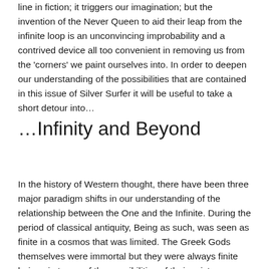line in fiction; it triggers our imagination; but the invention of the Never Queen to aid their leap from the infinite loop is an unconvincing improbability and a contrived device all too convenient in removing us from the 'corners' we paint ourselves into. In order to deepen our understanding of the possibilities that are contained in this issue of Silver Surfer it will be useful to take a short detour into…
…Infinity and Beyond
In the history of Western thought, there have been three major paradigm shifts in our understanding of the relationship between the One and the Infinite. During the period of classical antiquity, Being as such, was seen as finite in a cosmos that was limited. The Greek Gods themselves were immortal but they were always finite beings in terms of the possibilities of their existence. The Greek term Apeiron (ἄπειρον) indicates that which is unlimited, or infinite, and this was seen as a frightening